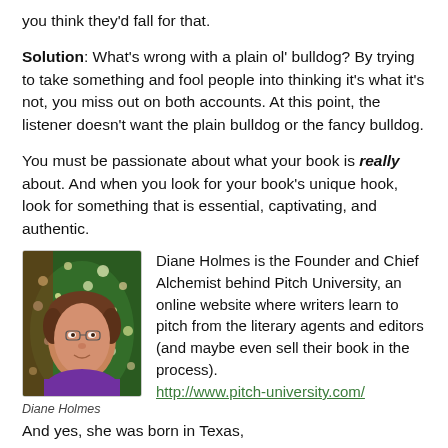you think they'd fall for that.
Solution: What's wrong with a plain ol' bulldog? By trying to take something and fool people into thinking it's what it's not, you miss out on both accounts. At this point, the listener doesn't want the plain bulldog or the fancy bulldog.
You must be passionate about what your book is really about. And when you look for your book's unique hook, look for something that is essential, captivating, and authentic.
[Figure (photo): Photo of Diane Holmes, a woman with short curly hair wearing a purple shirt, in front of a Christmas tree with lights.]
Diane Holmes
Diane Holmes is the Founder and Chief Alchemist behind Pitch University, an online website where writers learn to pitch from the literary agents and editors (and maybe even sell their book in the process). http://www.pitch-university.com/
And yes, she was born in Texas,